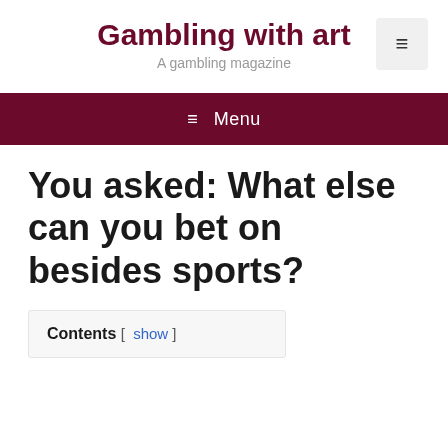Gambling with art
A gambling magazine
≡ Menu
You asked: What else can you bet on besides sports?
Contents [ show ]